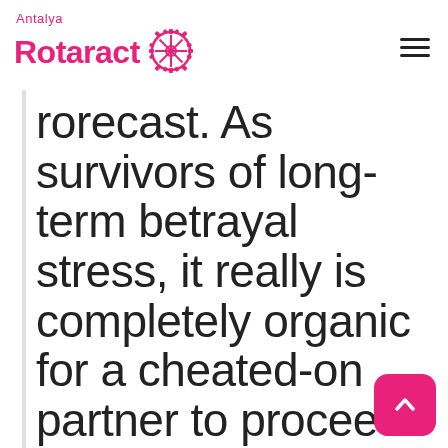Antalya Rotaract
rorecast. As survivors of long-term betrayal stress, it really is completely organic for a cheated-on partner to proceed with